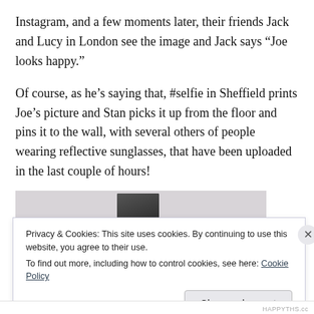Instagram, and a few moments later, their friends Jack and Lucy in London see the image and Jack says “Joe looks happy.”
Of course, as he's saying that, #selfie in Sheffield prints Joe's picture and Stan picks it up from the floor and pins it to the wall, with several others of people wearing reflective sunglasses, that have been uploaded in the last couple of hours!
[Figure (photo): Partial view of a black and white photograph of a person, shown against a light purple/grey background.]
Privacy & Cookies: This site uses cookies. By continuing to use this website, you agree to their use.
To find out more, including how to control cookies, see here: Cookie Policy
Close and accept